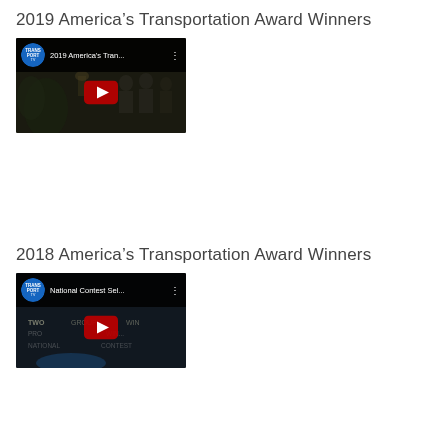2019 America’s Transportation Award Winners
[Figure (screenshot): YouTube video thumbnail for '2019 America's Tran...' from Transportation TV channel, showing a dark scene with people in suits and a YouTube play button overlay.]
2018 America’s Transportation Award Winners
[Figure (screenshot): YouTube video thumbnail for 'National Contest Sel...' from Transportation TV channel, showing text 'TWO GROUPS WIN PRO NATIONAL CONTEST' in a dark scene with a YouTube play button overlay.]